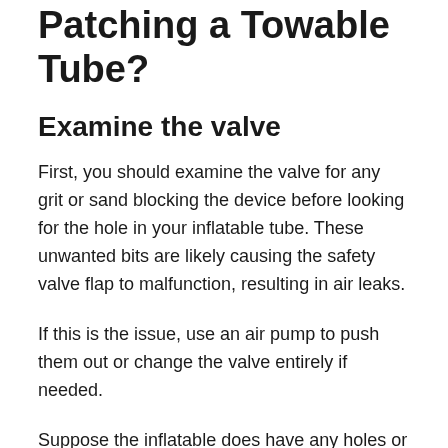Patching a Towable Tube?
Examine the valve
First, you should examine the valve for any grit or sand blocking the device before looking for the hole in your inflatable tube. These unwanted bits are likely causing the safety valve flap to malfunction, resulting in air leaks.
If this is the issue, use an air pump to push them out or change the valve entirely if needed.
Suppose the inflatable does have any holes or tears, but that you can, as a first step, determine the...